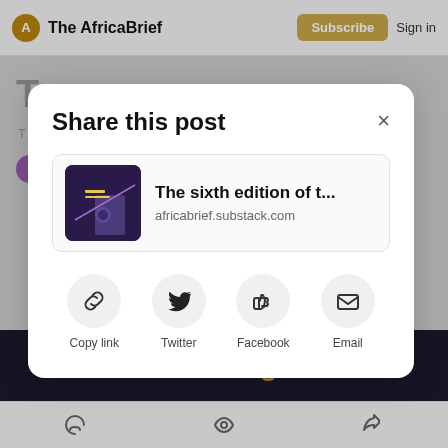The AfricaBrief | Subscribe | Sign in
[Figure (screenshot): Share this post modal dialog over The AfricaBrief Substack article page. Modal contains article preview card for 'The sixth edition of t...' at africabrief.substack.com, and four share buttons: Copy link, Twitter, Facebook, Email.]
Share this post
The sixth edition of t...
africabrief.substack.com
Copy link
Twitter
Facebook
Email